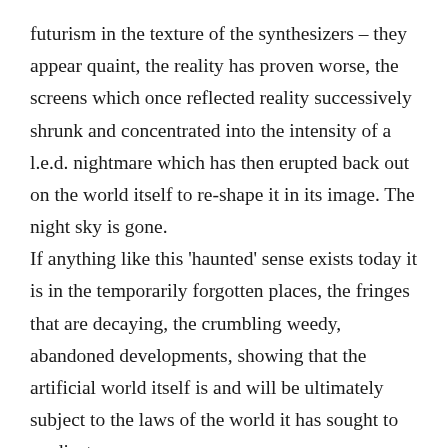futurism in the texture of the synthesizers – they appear quaint, the reality has proven worse, the screens which once reflected reality successively shrunk and concentrated into the intensity of a l.e.d. nightmare which has then erupted back out on the world itself to re-shape it in its image. The night sky is gone. If anything like this 'haunted' sense exists today it is in the temporarily forgotten places, the fringes that are decaying, the crumbling weedy, abandoned developments, showing that the artificial world itself is and will be ultimately subject to the laws of the world it has sought to eradicate.